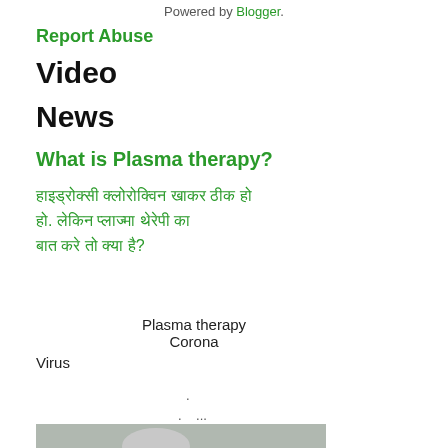Powered by Blogger.
Report Abuse
Video
News
What is Plasma therapy?
हाइड्रोक्सी क्लोरोक्विन खाकर ठीक हो. लेकिन प्लाज्मा थेरेपी का बात करे तो क्या है?
Plasma therapy
Corona
Virus
.
. ...
[Figure (photo): Person in white lab coat and hair net looking through a microscope, possibly examining a sample in a laboratory setting.]